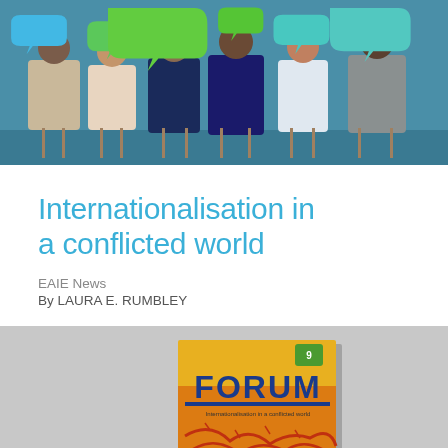[Figure (photo): Group of diverse professionals sitting in chairs, each holding colorful speech bubble cutouts (blue, green, teal) in front of a teal/dark backdrop]
Internationalisation in a conflicted world
EAIE News
By LAURA E. RUMBLEY
[Figure (photo): Magazine cover of 'FORUM' publication with yellow/orange background and red thorny branches, placed on a light grey surface]